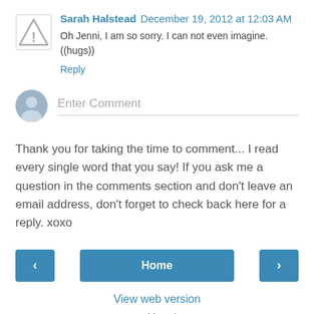Sarah Halstead December 19, 2012 at 12:03 AM
Oh Jenni, I am so sorry. I can not even imagine. ((hugs))
Reply
[Figure (other): Enter Comment input field with user avatar icon]
Thank you for taking the time to comment... I read every single word that you say! If you ask me a question in the comments section and don't leave an email address, don't forget to check back here for a reply. xoxo
[Figure (other): Navigation bar with left arrow button, Home button, and right arrow button]
View web version
Powered by Blogger.